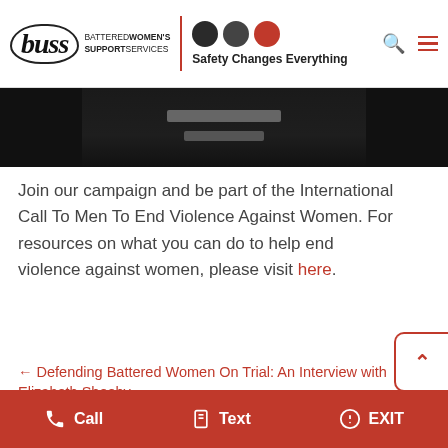buss | BATTERED WOMEN'S SUPPORT SERVICES | Safety Changes Everything
[Figure (photo): Dark/black and white photo strip showing a blurred object against a dark background]
Join our campaign and be part of the International Call To Men To End Violence Against Women. For resources on what you can do to help end violence against women, please visit here.
← Defending Battered Women On Trial: An Interview with Elizabeth Sheehy
Youth Engagement in Dating Violence
Call  Text  EXIT